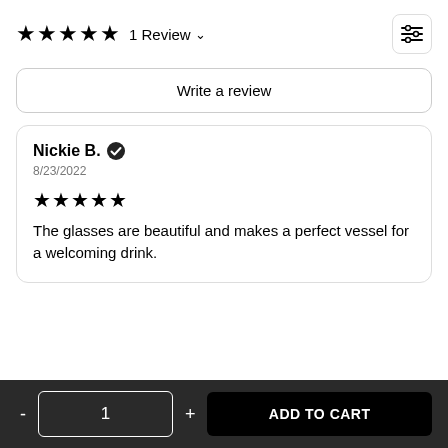★★★★★ 1 Review ∨
Write a review
Nickie B. ✔
8/23/2022
★★★★★
The glasses are beautiful and makes a perfect vessel for a welcoming drink.
- 1 + ADD TO CART